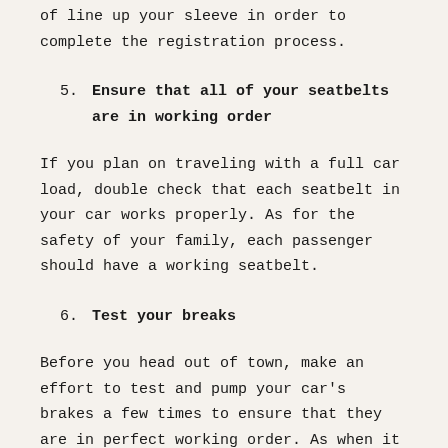of line up your sleeve in order to complete the registration process.
5. Ensure that all of your seatbelts are in working order
If you plan on traveling with a full car load, double check that each seatbelt in your car works properly. As for the safety of your family, each passenger should have a working seatbelt.
6. Test your breaks
Before you head out of town, make an effort to test and pump your car's brakes a few times to ensure that they are in perfect working order. As when it comes time to drive on new roads